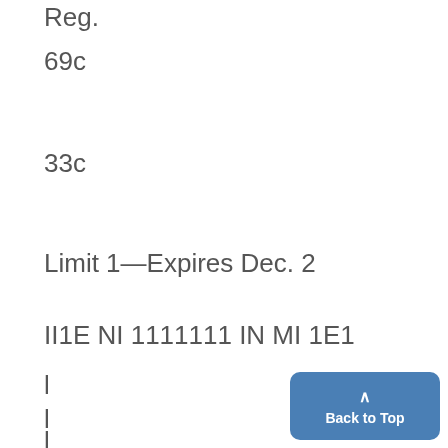Reg.
69c
33c
Limit 1—Expires Dec. 2
II1E NI 1111111 IN MI 1E1
l
l
l